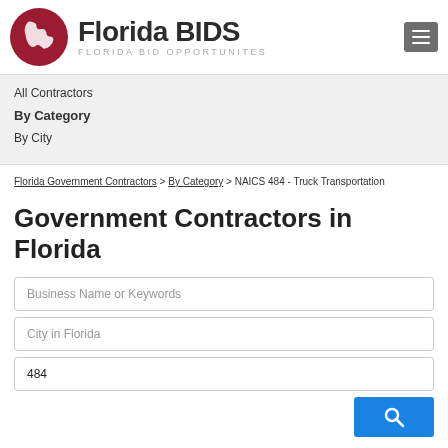[Figure (logo): Florida BIDS logo with red circle containing Florida state silhouette, bold text 'Florida BIDS' and subtitle 'FLORIDA BID OPPORTUNITES']
All Contractors
By Category
By City
Florida Government Contractors > By Category > NAICS 484 - Truck Transportation
Government Contractors in Florida
Business Name or Keywords
City in Florida
484